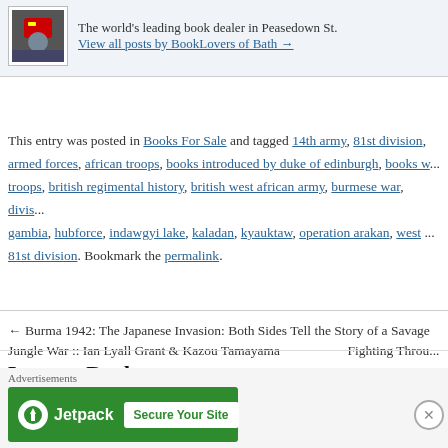The world's leading book dealer in Peasedown St.
View all posts by BookLovers of Bath →
This entry was posted in Books For Sale and tagged 14th army, 81st division, armed forces, african troops, books introduced by duke of edinburgh, books w... troops, british regimental history, british west african army, burmese war, divis... gambia, hubforce, indawgyi lake, kaladan, kyauktaw, operation arakan, west ... 81st division. Bookmark the permalink.
← Burma 1942: The Japanese Invasion: Both Sides Tell the Story of a Savage Jungle War :: Ian Lyall Grant & Kazou Tamayama
Fighting Throu...
Leave a Reply
Your email address will not be published. Required fields ar...
Advertisements
[Figure (screenshot): Jetpack advertisement banner with green background saying 'Secure Your Site']